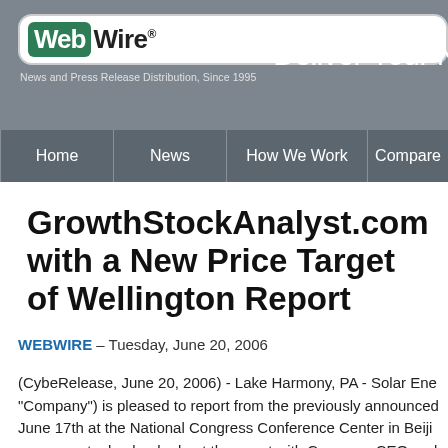WebWire® News and Press Release Distribution, Since 1995 | Deliver Your N
Home | News | How We Work | Compare Services
GrowthStockAnalyst.com with a New Price Target of Wellington Report
WEBWIRE – Tuesday, June 20, 2006
(CybeRelease, June 20, 2006) - Lake Harmony, PA - Solar Ene "Company") is pleased to report from the previously announced June 17th at the National Congress Conference Center in Beiji sponsors, took a lead role at the event with Company CEO and keynote speech to the audience of industry insiders, legislato